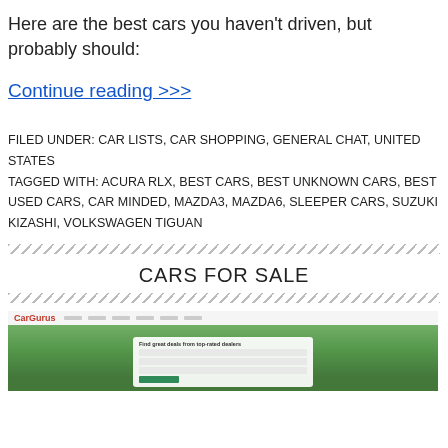Here are the best cars you haven't driven, but probably should:
Continue reading >>>
FILED UNDER: CAR LISTS, CAR SHOPPING, GENERAL CHAT, UNITED STATES
TAGGED WITH: ACURA RLX, BEST CARS, BEST UNKNOWN CARS, BEST USED CARS, CAR MINDED, MAZDA3, MAZDA6, SLEEPER CARS, SUZUKI KIZASHI, VOLKSWAGEN TIGUAN
CARS FOR SALE
[Figure (screenshot): Screenshot of CarGurus website showing the homepage with a man smiling next to a vehicle and a search interface with the tagline 'Find great deals from top-rated dealers']